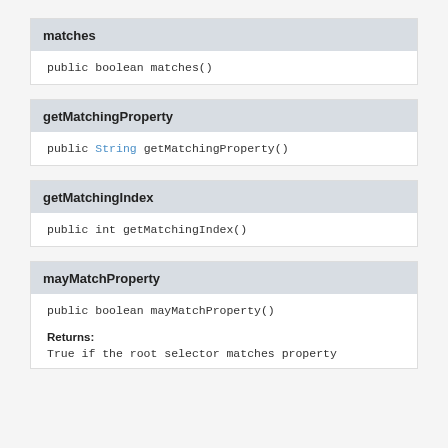matches
public boolean matches()
getMatchingProperty
public String getMatchingProperty()
getMatchingIndex
public int getMatchingIndex()
mayMatchProperty
public boolean mayMatchProperty()
Returns:
True if the root selector matches property